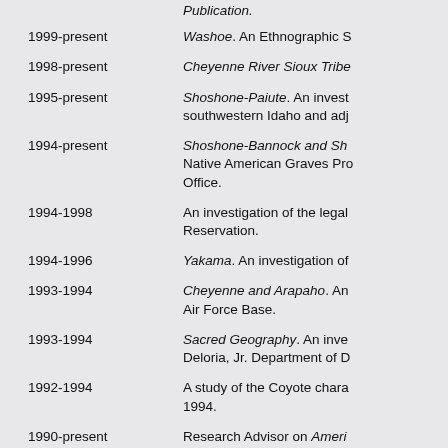Publication.
1999-present   Washoe. An Ethnographic S
1998-present   Cheyenne River Sioux Tribe
1995-present   Shoshone-Paiute. An invest southwestern Idaho and adj
1994-present   Shoshone-Bannock and Sh Native American Graves Pro Office.
1994-1998   An investigation of the legal Reservation.
1994-1996   Yakama. An investigation of
1993-1994   Cheyenne and Arapaho. An Air Force Base.
1993-1994   Sacred Geography. An inve Deloria, Jr. Department of D
1992-1994   A study of the Coyote chara 1994.
1990-present   Research Advisor on Ameri Bend, Oregon.
1990-1999   Sahaptian Fisheries of the